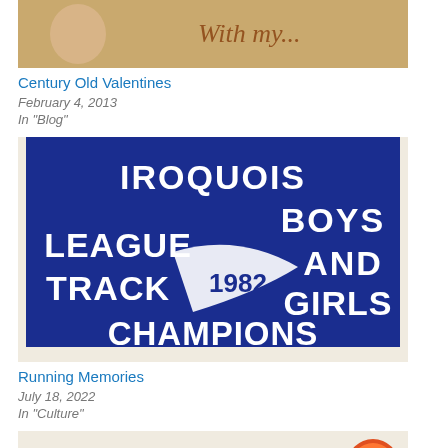[Figure (photo): Partial image of a vintage Valentine card with cursive script reading 'With my...']
Century Old Valentines
February 4, 2013
In "Blog"
[Figure (photo): Blue pennant banner reading 'Iroquois Boys League and Track 1982 Girls Champions']
Running Memories
July 18, 2022
In "Culture"
[Figure (photo): Omaha World-Herald newspaper masthead, Midlands Edition]